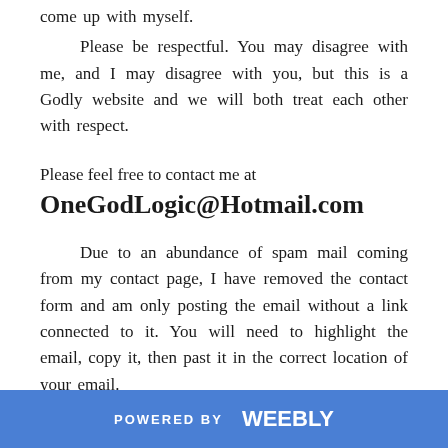come up with myself.
Please be respectful. You may disagree with me, and I may disagree with you, but this is a Godly website and we will both treat each other with respect.
Please feel free to contact me at
OneGodLogic@Hotmail.com
Due to an abundance of spam mail coming from my contact page, I have removed the contact form and am only posting the email without a link connected to it. You will need to highlight the email, copy it, then past it in the correct location of your email.
POWERED BY weebly